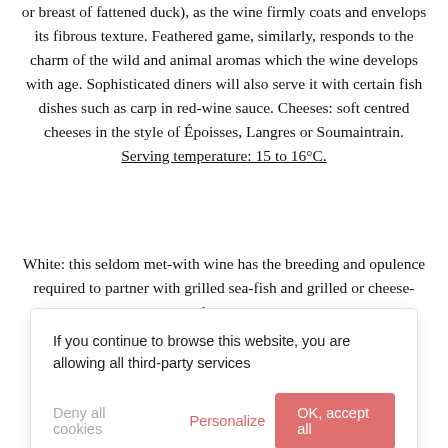or breast of fattened duck), as the wine firmly coats and envelops its fibrous texture. Feathered game, similarly, responds to the charm of the wild and animal aromas which the wine develops with age. Sophisticated diners will also serve it with certain fish dishes such as carp in red-wine sauce. Cheeses: soft centred cheeses in the style of Époisses, Langres or Soumaintrain.
Serving temperature: 15 to 16°C.
White: this seldom met-with wine has the breeding and opulence required to partner with grilled sea-fish and grilled or cheese-topped crustaceans.
Serving temperature: 12 to 13°C.
If you continue to browse this website, you are allowing all third-party services
centuries-old history of winemaking. It gives its name to the